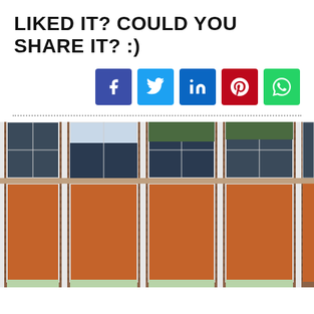LIKED IT? COULD YOU SHARE IT? :)
[Figure (infographic): Five social media share buttons: Facebook (dark blue), Twitter (light blue), LinkedIn (blue), Pinterest (dark red), WhatsApp (green)]
[Figure (photo): Exterior brick building facade with tall windows featuring orange/brown shades and white frames, repeated pattern across multiple bays]